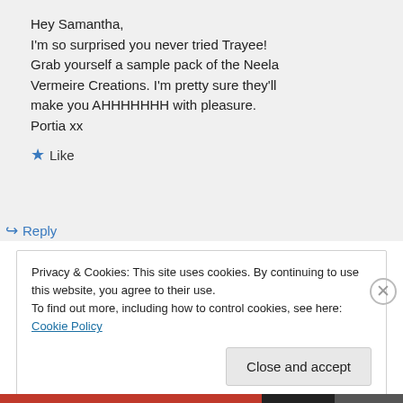Hey Samantha,
I'm so surprised you never tried Trayee! Grab yourself a sample pack of the Neela Vermeire Creations. I'm pretty sure they'll make you AHHHHHHH with pleasure.
Portia xx
★ Like
↪ Reply
Privacy & Cookies: This site uses cookies. By continuing to use this website, you agree to their use.
To find out more, including how to control cookies, see here: Cookie Policy
Close and accept